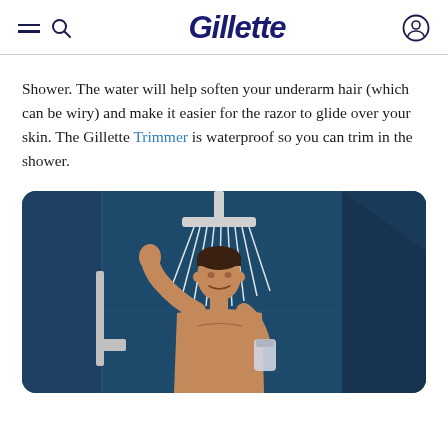Gillette
Shower. The water will help soften your underarm hair (which can be wiry) and make it easier for the razor to glide over your skin. The Gillette Trimmer is waterproof so you can trim in the shower.
[Figure (illustration): Illustration of a man showering, with water streams from the showerhead, in a tiled bathroom setting with dark blue walls.]